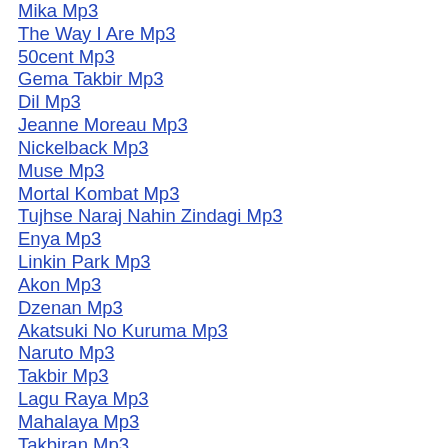Mika Mp3
The Way I Are Mp3
50cent Mp3
Gema Takbir Mp3
Dil Mp3
Jeanne Moreau Mp3
Nickelback Mp3
Muse Mp3
Mortal Kombat Mp3
Tujhse Naraj Nahin Zindagi Mp3
Enya Mp3
Linkin Park Mp3
Akon Mp3
Dzenan Mp3
Akatsuki No Kuruma Mp3
Naruto Mp3
Takbir Mp3
Lagu Raya Mp3
Mahalaya Mp3
Takbiran Mp3
50 Cent Mp3
01 Mp3
Karl Wolf Mp3
Akon Mp3
2pac Mp3
Eddy Mp3